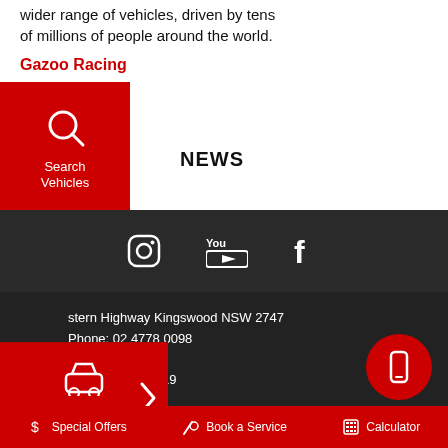wider range of vehicles, driven by tens of millions of people around the world.
Gazoo Racing
[Figure (screenshot): Red sidebar button: Search Vehicles with magnifying glass icon]
[Figure (screenshot): Red sidebar button: Trade-In Valuation with printer/cash icon]
NEWS
[Figure (screenshot): Dark strip with social media icons: Instagram, YouTube, Facebook]
[Figure (screenshot): Red sidebar button: Test Drive with car icon and chevron arrow]
stern Highway Kingswood NSW 2747
Phone: 02 4778 0098
Fax: 02 8805 9419
[Figure (screenshot): Red circular button with mobile phone icon]
$ Special Offers   Book a Service   Calculator